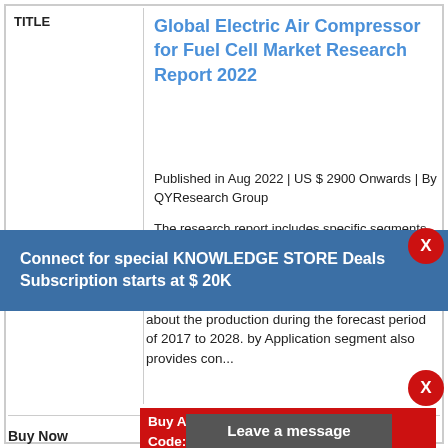TITLE
Global Electric Air Compressor for Fuel Cell Market Research Report 2022
Published in Aug 2022 | US $ 2900 Onwards | By QYResearch Group
The research report includes specific segments
type provides information about the production during the forecast period of 2017 to 2028. by Application segment also provides con...
Connect for special KNOWLEDGE STORE Deals
Subscription starts at $ 20K
Buy Any Report Avail 20% Code:
Leave a message
Buy Now